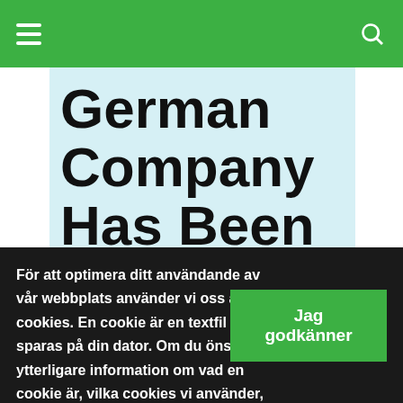German Company Has Been Driving
För att optimera ditt användande av vår webbplats använder vi oss av cookies. En cookie är en textfil som sparas på din dator. Om du önskar ytterligare information om vad en cookie är, vilka cookies vi använder, vad syftet med cookien är eller hur du kan blockera eller radera cookies, vänligen läs Om cookies.